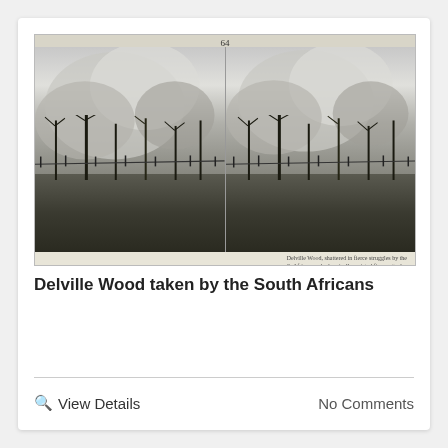[Figure (photo): Black and white stereocard photograph showing Delville Wood with shattered trees and large smoke clouds in the background, landscape devastated by war. Caption strip at bottom reads 'Delville Wood, shattered in fierce struggles by the S. Africans, who heroically resisted fierce attacks.' Number 64 at top center.]
Delville Wood taken by the South Africans
View Details
No Comments